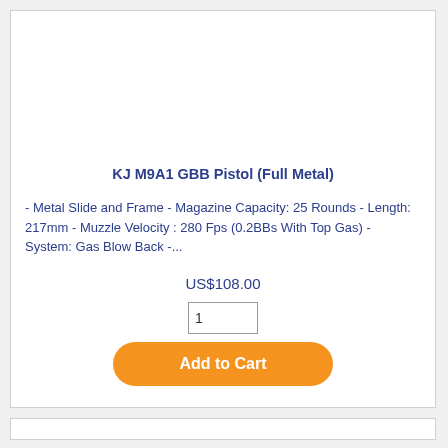KJ M9A1 GBB Pistol (Full Metal)
- Metal Slide and Frame - Magazine Capacity: 25 Rounds - Length: 217mm - Muzzle Velocity : 280 Fps (0.2BBs With Top Gas) - System: Gas Blow Back -...
US$108.00